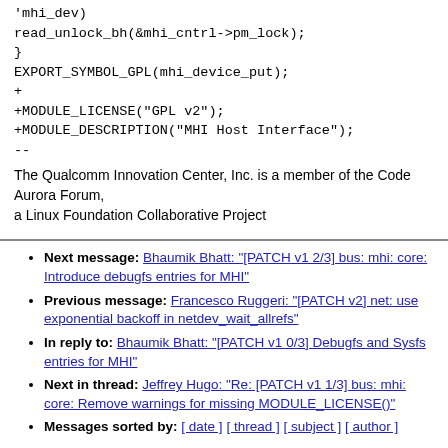'mhi_dev)
read_unlock_bh(&mhi_cntrl->pm_lock);
}
EXPORT_SYMBOL_GPL(mhi_device_put);
+
+MODULE_LICENSE("GPL v2");
+MODULE_DESCRIPTION("MHI Host Interface");
--
The Qualcomm Innovation Center, Inc. is a member of the Code Aurora Forum,
a Linux Foundation Collaborative Project
Next message: Bhaumik Bhatt: "[PATCH v1 2/3] bus: mhi: core: Introduce debugfs entries for MHI"
Previous message: Francesco Ruggeri: "[PATCH v2] net: use exponential backoff in netdev_wait_allrefs"
In reply to: Bhaumik Bhatt: "[PATCH v1 0/3] Debugfs and Sysfs entries for MHI"
Next in thread: Jeffrey Hugo: "Re: [PATCH v1 1/3] bus: mhi: core: Remove warnings for missing MODULE_LICENSE()"
Messages sorted by: [ date ] [ thread ] [ subject ] [ author ]